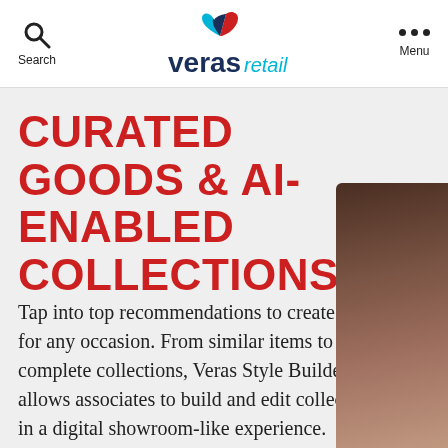Search | Veras Retail | Menu
[Figure (logo): Veras Retail logo with blue and red swoosh icon above the word 'veras' in dark blue bold text and 'retail' in light blue italic text]
CURATED GOODS & AI-ENABLED COLLECTIONS
Tap into top recommendations to create looks for any occasion. From similar items to complete collections, Veras Style Builder allows associates to build and edit collections in a digital showroom-like experience.
[Figure (photo): Partial view of a person with dark hair on the right side of the page]